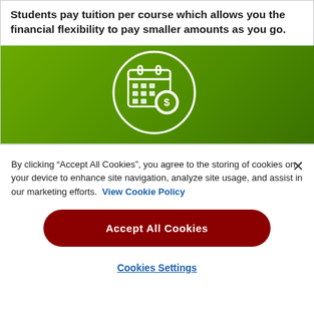Students pay tuition per course which allows you the financial flexibility to pay smaller amounts as you go.
[Figure (illustration): Green banner with a white circle containing a calendar icon with a dollar sign coin, representing payment scheduling.]
By clicking "Accept All Cookies", you agree to the storing of cookies on your device to enhance site navigation, analyze site usage, and assist in our marketing efforts.  View Cookie Policy
Accept All Cookies
Cookies Settings